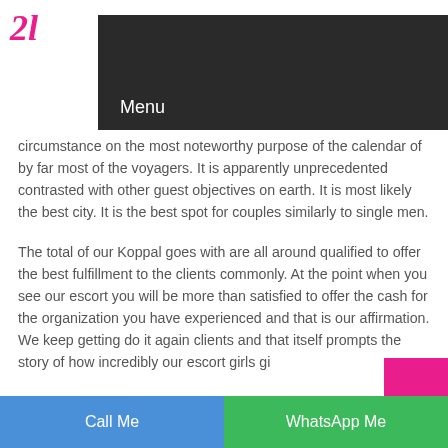[Figure (screenshot): Website header with dark navigation bar showing 'Menu' text and hamburger icon, with magenta/pink cursive logo elements on left and right sides]
circumstance on the most noteworthy purpose of the calendar of by far most of the voyagers. It is apparently unprecedented contrasted with other guest objectives on earth. It is most likely the best city. It is the best spot for couples similarly to single men.
The total of our Koppal goes with are all around qualified to offer the best fulfillment to the clients commonly. At the point when you see our escort you will be more than satisfied to offer the cash for the organization you have experienced and that is our affirmation. We keep getting do it again clients and that itself prompts the story of how incredibly our escort girls gi...
Call Me   WhatsApp Me